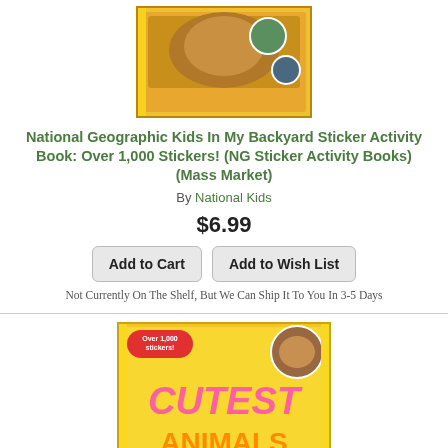[Figure (illustration): Book cover for National Geographic Kids In My Backyard Sticker Activity Book, yellow cover with animal photos]
National Geographic Kids In My Backyard Sticker Activity Book: Over 1,000 Stickers! (NG Sticker Activity Books) (Mass Market)
By National Kids
$6.99
Add to Cart
Add to Wish List
Not Currently On The Shelf, But We Can Ship It To You In 3-5 Days
[Figure (illustration): Book cover for National Geographic Kids Cutest Animals Sticker Activity Book, yellow cover with panda and cute animal photos, pink text saying CUTEST ANIMALS STICKER ACTIVITY BOOK]
National Geographic Kids Cutest Animals Sticker Activity Book: Over 1,000 stickers! (Mass Market)